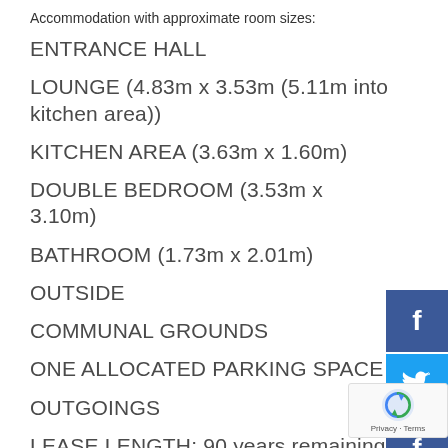Accommodation with approximate room sizes:
ENTRANCE HALL
LOUNGE (4.83m x 3.53m (5.11m into kitchen area))
KITCHEN AREA (3.63m x 1.60m)
DOUBLE BEDROOM (3.53m x 3.10m)
BATHROOM (1.73m x 2.01m)
OUTSIDE
COMMUNAL GROUNDS
ONE ALLOCATED PARKING SPACE
OUTGOINGS
LEASE LENGTH: 90 years remaining